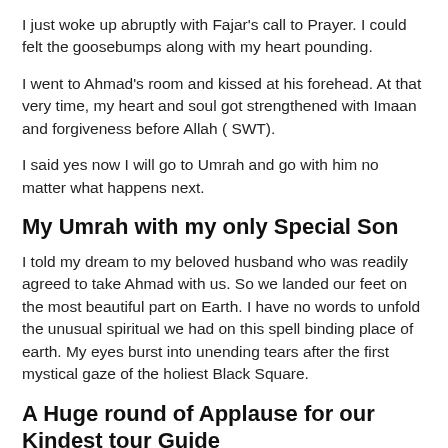I just woke up abruptly with Fajar's call to Prayer. I could felt the goosebumps along with my heart pounding.
I went to Ahmad's room and kissed at his forehead. At that very time, my heart and soul got strengthened with Imaan and forgiveness before Allah ( SWT).
I said yes now I will go to Umrah and go with him no matter what happens next.
My Umrah with my only Special Son
I told my dream to my beloved husband who was readily agreed to take Ahmad with us. So we landed our feet on the most beautiful part on Earth. I have no words to unfold the unusual spiritual we had on this spell binding place of earth. My eyes burst into unending tears after the first mystical gaze of the holiest Black Square.
A Huge round of Applause for our Kindest tour Guide